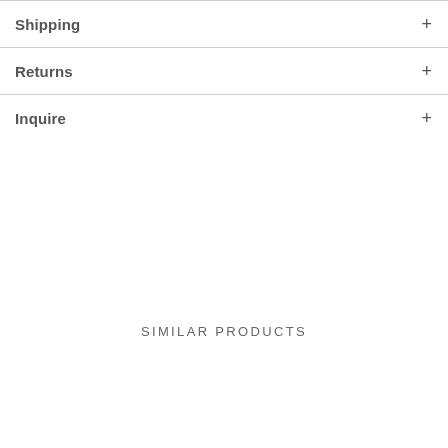Shipping
Returns
Inquire
SIMILAR PRODUCTS